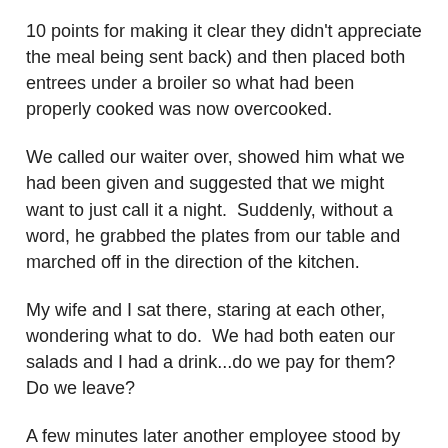10 points for making it clear they didn't appreciate the meal being sent back) and then placed both entrees under a broiler so what had been properly cooked was now overcooked.
We called our waiter over, showed him what we had been given and suggested that we might want to just call it a night.  Suddenly, without a word, he grabbed the plates from our table and marched off in the direction of the kitchen.
My wife and I sat there, staring at each other, wondering what to do.  We had both eaten our salads and I had a drink...do we pay for them?  Do we leave?
A few minutes later another employee stood by our table and introduced himself as the manager.  He